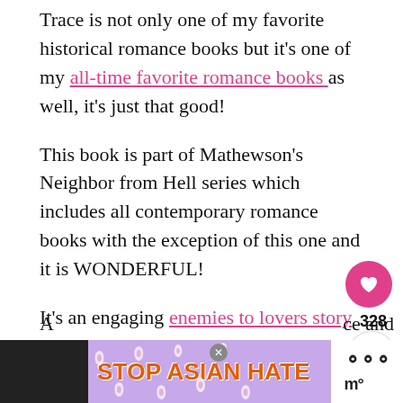Trace is not only one of my favorite historical romance books but it’s one of my all-time favorite romance books as well, it’s just that good!
This book is part of Mathewson’s Neighbor from Hell series which includes all contemporary romance books with the exception of this one and it is WONDERFUL!
It’s an engaging enemies to lovers story that is super HOT and has you on the edge of your seat, wondering what will happen between E[...] and Robert.
[Figure (other): Social share UI: pink heart button with count 328 and share icon button]
[Figure (other): What’s Next card: thumbnail image, label WHAT’S NEXT with arrow, title The Best Enemies to...]
[Figure (other): Advertisement banner: STOP ASIAN HATE text on purple background with flower decorations, close button, dark left strip, white right strip with Millo logo]
A [...] ce and